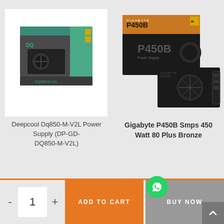[Figure (photo): Deepcool DQ850-M-V2L Power Supply product box photo - gray/green packaging with power supply unit visible]
[Figure (photo): Gigabyte P450B SMPS 450 Watt 80 Plus Bronze power supply - black unit with orange and black packaging box]
Deepcool Dq850-M-V2L Power Supply (DP-GD-DQ850-M-V2L)
Gigabyte P450B Smps 450 Watt 80 Plus Bronze
-
1
+
ADD TO CART
BUY NOW